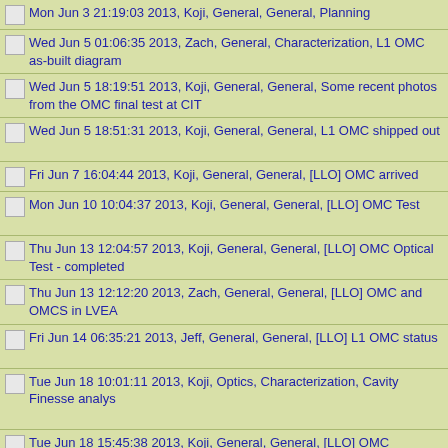Mon Jun 3 21:19:03 2013, Koji, General, General, Planning
Wed Jun 5 01:06:35 2013, Zach, General, Characterization, L1 OMC as-built diagram [attachment]
Wed Jun 5 18:19:51 2013, Koji, General, General, Some recent photos from the OMC final test at CIT
Wed Jun 5 18:51:31 2013, Koji, General, General, L1 OMC shipped out [attachments]
Fri Jun 7 16:04:44 2013, Koji, General, General, [LLO] OMC arrived
Mon Jun 10 10:04:37 2013, Koji, General, General, [LLO] OMC Test [attachments]
Thu Jun 13 12:04:57 2013, Koji, General, General, [LLO] OMC Optical Test - completed
Thu Jun 13 12:12:20 2013, Zach, General, General, [LLO] OMC and OMCS in LVEA
Fri Jun 14 06:35:21 2013, Jeff, General, General, [LLO] L1 OMC status [attachment]
Tue Jun 18 10:01:11 2013, Koji, Optics, Characterization, Cavity Finesse analysis [attachment]
Tue Jun 18 15:45:38 2013, Koji, General, General, [LLO] OMC installation in HAM6
Fri Jun 28 12:20:49 2013, Koji, General, General, Dmass's loan of Thorlabs HV amp
Sat Jul 6 17:10:07 2013, Koji, Mechanics, Characterization, PZT Response analysis [attachments]
Fri Aug 9 10:09:56 2013, Koji, General, General, PZT Assembly #3/#4 [attachment]